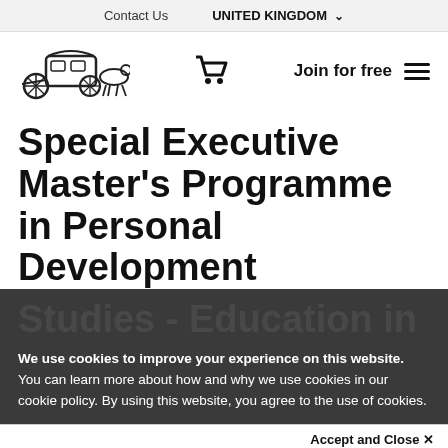Contact Us   UNITED KINGDOM
[Figure (logo): Horse-drawn carriage logo, shopping cart icon, Join for free text, hamburger menu icon]
Special Executive Master's Programme in Personal Development Studies - Education in
We use cookies to improve your experience on this website. You can learn more about how and why we use cookies in our cookie policy. By using this website, you agree to the use of cookies.
Accept and Close ×
Your browser settings do not allow cross-site tracking for advertising. Click on this page to allow AdRoll to use cross-site tracking to tailor ads to you. Learn more or opt out of this AdRoll tracking by clicking here. This message only appears once.